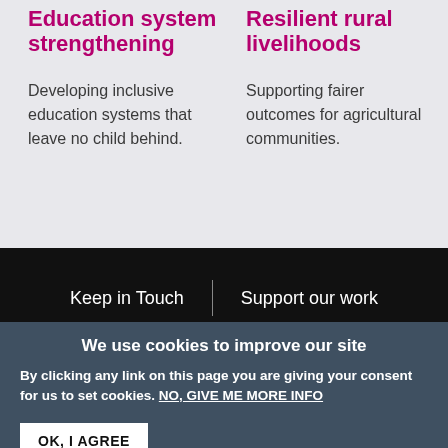Education system strengthening
Developing inclusive education systems that leave no child behind.
Resilient rural livelihoods
Supporting fairer outcomes for agricultural communities.
Keep in Touch | Support our work
We use cookies to improve our site
By clicking any link on this page you are giving your consent for us to set cookies. NO, GIVE ME MORE INFO
OK, I AGREE